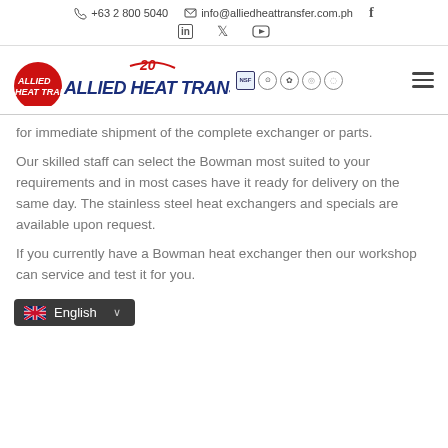+63 2 800 5040   info@alliedheattransfer.com.ph
[Figure (logo): Allied Heat Transfer 20th anniversary logo with certification icons and hamburger menu]
for immediate shipment of the complete exchanger or parts.
Our skilled staff can select the Bowman most suited to your requirements and in most cases have it ready for delivery on the same day. The stainless steel heat exchangers and specials are available upon request.
If you currently have a Bowman heat exchanger then our workshop can service and test it for you.
English